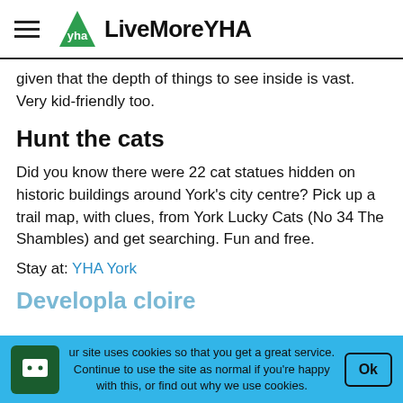LiveMoreYHA
given that the depth of things to see inside is vast. Very kid-friendly too.
Hunt the cats
Did you know there were 22 cat statues hidden on historic buildings around York's city centre? Pick up a trail map, with clues, from York Lucky Cats (No 34 The Shambles) and get searching. Fun and free.
Stay at: YHA York
Developla cloire
Our site uses cookies so that you get a great service. Continue to use the site as normal if you're happy with this, or find out why we use cookies.